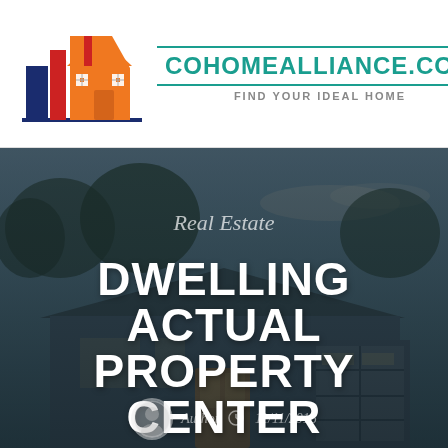[Figure (logo): Real estate logo with stylized house and buildings in navy, red, and orange colors]
COHOMEALLIANCE.COM
FIND YOUR IDEAL HOME
[Figure (photo): Background photo of a suburban house at dusk with trees]
Real Estate
DWELLING ACTUAL PROPERTY CENTER
Author  11/11/2018